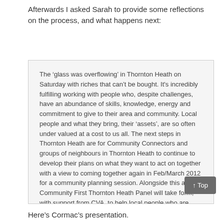Afterwards I asked Sarah to provide some reflections on the process, and what happens next:
The ‘glass was overflowing’ in Thornton Heath on Saturday with riches that can’t be bought. It's incredibly fulfilling working with people who, despite challenges, have an abundance of skills, knowledge, energy and commitment to give to their area and community. Local people and what they bring, their ‘assets’, are so often under valued at a cost to us all. The next steps in Thornton Heath are for Community Connectors and groups of neighbours in Thornton Heath to continue to develop their plans on what they want to act on together with a view to coming together again in Feb/March 2012 for a community planning session. Alongside this a Community First Thornton Heath Panel will take form, with support from CVA, to help local people who are developing inspiring community projects in Thornton Heath to access small grants to enable their work.
↑ Top
Here’s Cormac’s presentation.